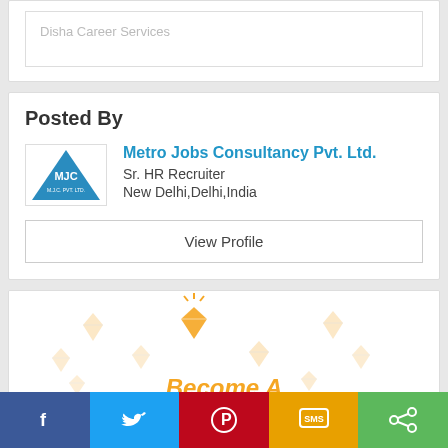Disha Career Services
Posted By
[Figure (logo): Metro Jobs Consultancy Pvt. Ltd. company logo with MJC initials in blue triangle]
Metro Jobs Consultancy Pvt. Ltd.
Sr. HR Recruiter
New Delhi,Delhi,India
View Profile
[Figure (illustration): Diamond gem icons scattered with orange highlighted diamond in center and orange italic text 'Become A' at bottom]
Become A
f  [Twitter bird]  [Pinterest P]  SMS  [Share icon]